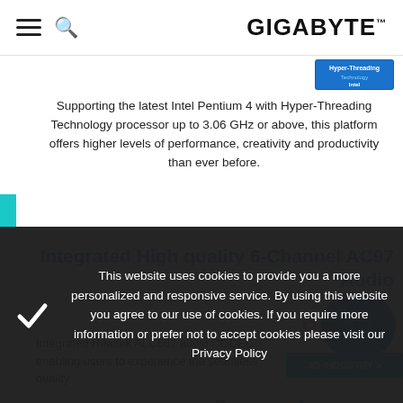GIGABYTE
[Figure (logo): Hyper-Threading Technology badge/logo in top right of content area]
Supporting the latest Intel Pentium 4 with Hyper-Threading Technology processor up to 3.06 GHz or above, this platform offers higher levels of performance, creativity and productivity than ever before.
Integrated High quality 6-Channel AC97 Audio
[Figure (photo): 3D Industry badge/image with a 3D rendered computer component and '3D INDUSTRY >' label]
Integrated Realtek ALC662 audio CODEC enabling users to experience the seamless quality
Super performance text (partially obscured by cookie overlay)
Super performance...
This website uses cookies to provide you a more personalized and responsive service. By using this website you agree to our use of cookies. If you require more information or prefer not to accept cookies please visit our Privacy Policy